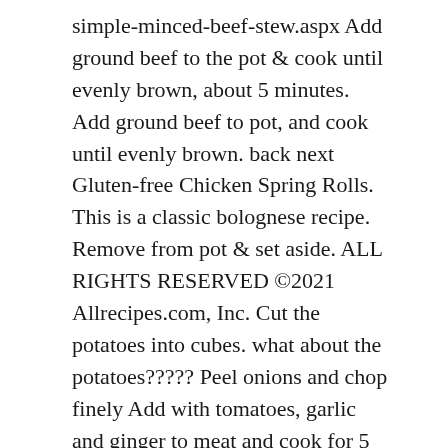simple-minced-beef-stew.aspx Add ground beef to the pot & cook until evenly brown, about 5 minutes. Add ground beef to pot, and cook until evenly brown. back next Gluten-free Chicken Spring Rolls. This is a classic bolognese recipe. Remove from pot & set aside. ALL RIGHTS RESERVED ©2021 Allrecipes.com, Inc. Cut the potatoes into cubes. what about the potatoes????? Peel onions and chop finely Add with tomatoes, garlic and ginger to meat and cook for 5 ... Quite dry... no gravy to speak of. https://www.viva.co.nz/article/food-drink/best-fancy-mince-recipes Total Carbohydrate If you're craving comfort food, it doesn't get much better than this cheesy ... 05 Sep 2015, i i love rice pudding <3 Add tomatoes, tomato paste, beef stock, oregano and any vegetables you are using. Edmonds Cookery Book has been providing tried and true New Zealand recipes since 1908. -  The email addresses you entered will not be stored and will be used only to send this email. Indian-